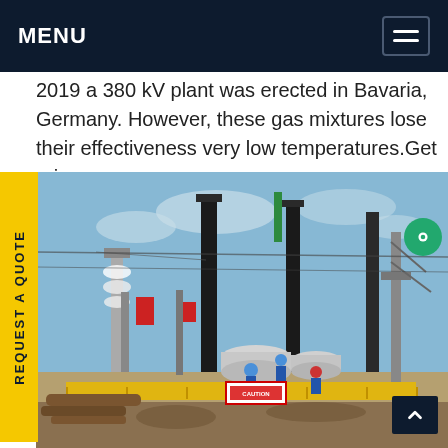MENU
2019 a 380 kV plant was erected in Bavaria, Germany. However, these gas mixtures lose their effectiveness very low temperatures.Get price
[Figure (photo): Construction site of a high-voltage electrical substation with tall transformer structures, workers in blue uniforms, large cylindrical tanks, and construction materials in foreground. Yellow signage visible.]
REQUEST A QUOTE